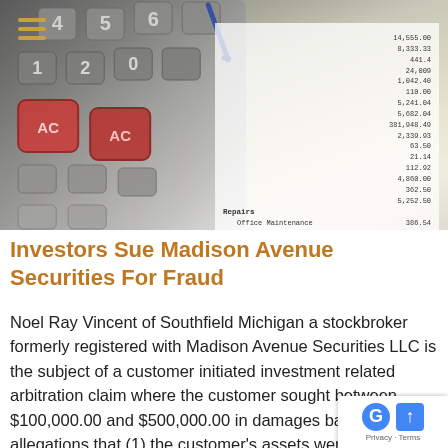[Figure (photo): Photo of a calculator and a hand holding a pen over a financial ledger/spreadsheet with numbers visible]
Investors Sue Madison Avenue Securities For Fraud
Noel Ray Vincent of Southfield Michigan a stockbroker formerly registered with Madison Avenue Securities LLC is the subject of a customer initiated investment related arbitration claim where the customer sought between $100,000.00 and $500,000.00 in damages based upon allegations that (1) the customer's assets were handled in a negligent manner (2) fiduciary duties were breached